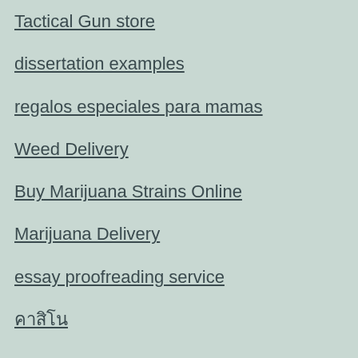Tactical Gun store
dissertation examples
regalos especiales para mamas
Weed Delivery
Buy Marijuana Strains Online
Marijuana Delivery
essay proofreading service
คาสิโน